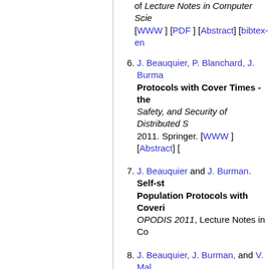of Lecture Notes in Computer Science. [WWW] [PDF] [Abstract] [bibtex-en
6. J. Beauquier, P. Blanchard, J. Burma... Protocols with Cover Times - the ... Safety, and Security of Distributed S... 2011. Springer. [WWW] [Abstract] [
7. J. Beauquier and J. Burman. Self-st... Population Protocols with Coveri... OPODIS 2011, Lecture Notes in Co...
8. J. Beauquier, J. Burman, and V. Mal... In Ducourthial et Bertrand et Felber... Algorithmiques de Télécommunicati...
9. F. Becker, M. Matamala, N. Nisse, I... interconnection network: What ca... Distributed Processing Symposium (... entry]
10. F. Becker, M. Matamala, N. Nisse, I... ronde. In Ducourthial, Bertrand et F... Aspects Algorithmiques de Télécom... [bibtex-entry]